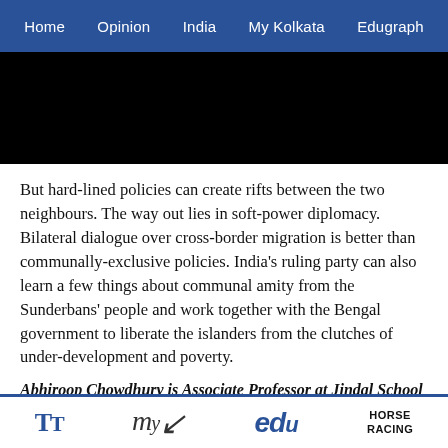Home  Opinion  India  My Kolkata  Edugraph
[Figure (photo): Black rectangular hero image area]
But hard-lined policies can create rifts between the two neighbours. The way out lies in soft-power diplomacy. Bilateral dialogue over cross-border migration is better than communally-exclusive policies. India's ruling party can also learn a few things about communal amity from the Sunderbans' people and work together with the Bengal government to liberate the islanders from the clutches of under-development and poverty.
Abhiroop Chowdhury is Associate Professor at Jindal School of Environment and Sustainability
TT  my  edu  HORSE RACING